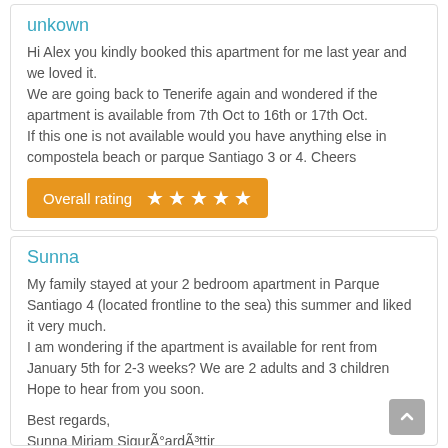unkown
Hi Alex you kindly booked this apartment for me last year and we loved it.
We are going back to Tenerife again and wondered if the apartment is available from 7th Oct to 16th or 17th Oct.
If this one is not available would you have anything else in compostela beach or parque Santiago 3 or 4. Cheers
[Figure (infographic): Orange rating bar showing 'Overall rating' with 5 white stars]
Sunna
My family stayed at your 2 bedroom apartment in Parque Santiago 4 (located frontline to the sea) this summer and liked it very much.
I am wondering if the apartment is available for rent from January 5th for 2-3 weeks? We are 2 adults and 3 children Hope to hear from you soon.

Best regards,
Sunna Miriam SigurÃ°ardÃ³ttir